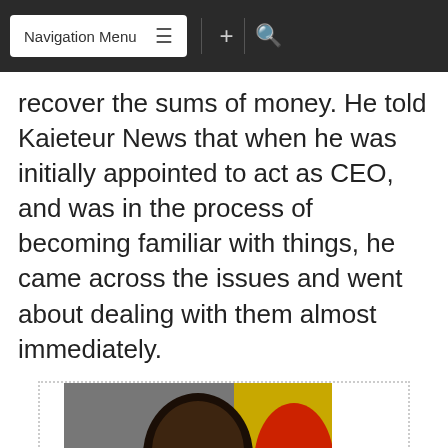Navigation Menu
recover the sums of money. He told Kaieteur News that when he was initially appointed to act as CEO, and was in the process of becoming familiar with things, he came across the issues and went about dealing with them almost immediately.
[Figure (photo): A man wearing glasses speaking into a microphone, with a red and yellow background behind him.]